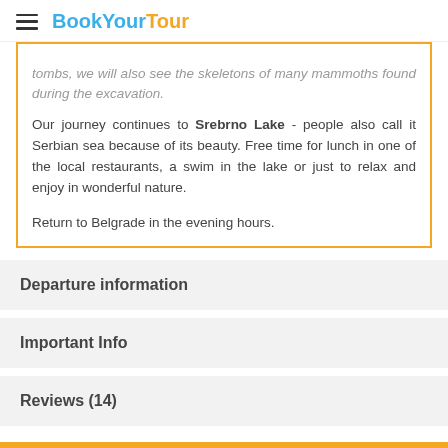BookYourTour
tombs, we will also see the skeletons of many mammoths found during the excavation.
Our journey continues to Srebrno Lake - people also call it Serbian sea because of its beauty. Free time for lunch in one of the local restaurants, a swim in the lake or just to relax and enjoy in wonderful nature.
Return to Belgrade in the evening hours.
Departure information
Important Info
Reviews (14)